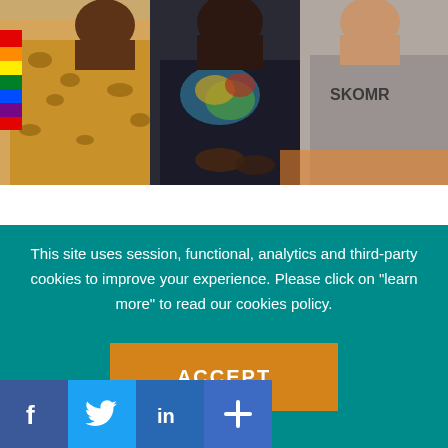[Figure (photo): Three people sitting together, one wearing a leopard print top with a rainbow flag visible, another in a dark graphic t-shirt, third in a grey hoodie]
Music Class and Therapy for
This site uses session, functional, analytics and third-party cookies to improve your experience. Please click on "learn more" to read our cookies policy.
ACCEPT
Learn More
[Figure (other): Social media icons: Facebook, Twitter, LinkedIn, and a plus/share button]